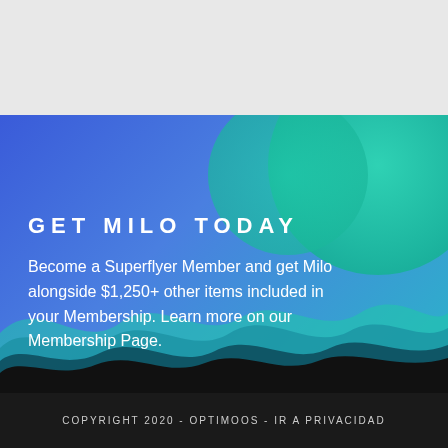[Figure (illustration): Decorative banner with blue-to-teal gradient background, large teal circles in top-right, wavy dark shapes at bottom]
GET MILO TODAY
Become a Superflyer Member and get Milo alongside $1,250+ other items included in your Membership. Learn more on our Membership Page.
COPYRIGHT 2020 - OPTIMOOS - IR A PRIVACIDAD